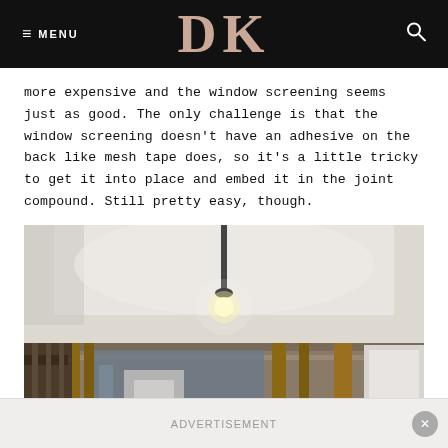≡ MENU  DK  🔍
more expensive and the window screening seems just as good. The only challenge is that the window screening doesn't have an adhesive on the back like mesh tape does, so it's a little tricky to get it into place and embed it in the joint compound. Still pretty easy, though.
[Figure (photo): Interior photo of a room under renovation showing a freshly drywalled and mudded ceiling with a bare light bulb fixture illuminated, and below it exposed wooden framing/studs with insulation visible, window frames being roughed in.]
Advertisement